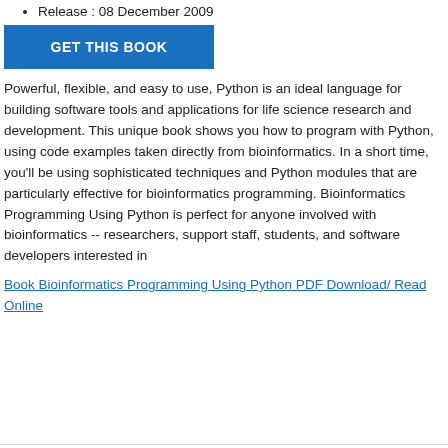Release : 08 December 2009
[Figure (other): Blue button labeled GET THIS BOOK]
Powerful, flexible, and easy to use, Python is an ideal language for building software tools and applications for life science research and development. This unique book shows you how to program with Python, using code examples taken directly from bioinformatics. In a short time, you'll be using sophisticated techniques and Python modules that are particularly effective for bioinformatics programming. Bioinformatics Programming Using Python is perfect for anyone involved with bioinformatics -- researchers, support staff, students, and software developers interested in
Book Bioinformatics Programming Using Python PDF Download/ Read Online